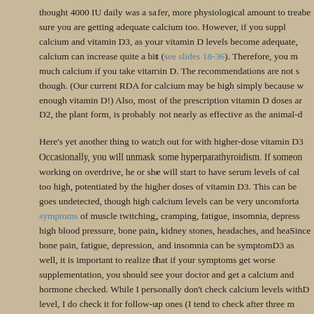thought 4000 IU daily was a safer, more physiological amount to treat with. Also, be sure you are getting adequate calcium too. However, if you supplement with calcium and vitamin D3, as your vitamin D levels become adequate, your absorption of calcium can increase quite a bit (see slides 18-36). Therefore, you may not need as much calcium if you take vitamin D. The recommendations are not set in stone, though. (Our current RDA for calcium may be high simply because we don't get enough vitamin D!) Also, most of the prescription vitamin D doses are in the form of D2, the plant form, is probably not nearly as effective as the animal-derived D3.

Here's yet another thing to watch out for with higher-dose vitamin D3 treatment: Occasionally, you will unmask some hyperparathyroidism. If someone's parathyroid is working on overdrive, he or she will start to have serum levels of calcium that are too high, potentiated by the higher doses of vitamin D3. This can be dangerous if it goes undetected, though high calcium levels can be very uncomfortable, causing symptoms of muscle twitching, cramping, fatigue, insomnia, depression, confusion, high blood pressure, bone pain, kidney stones, headaches, and heart palpitations. Since bone pain, fatigue, depression, and insomnia can be symptoms of low vitamin D3 as well, it is important to realize that if your symptoms get worse with vitamin D3 supplementation, you should see your doctor and get a calcium and parathyroid hormone checked. While I personally don't check calcium levels with the initial vitamin D level, I do check it for follow-up ones (I tend to check after three months of treatment). While home testing is a neat option for the initial level, seeing your d